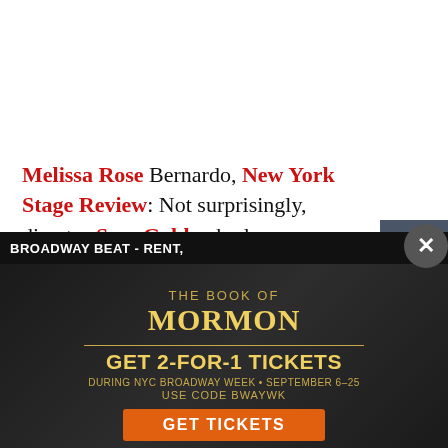Melissa Rose Bernardo, New York Stage Review: Not surprisingly, director Sam Gold, who loves a pregnant pause, leans into Corsicana's many quiet moments, causing more than a few...pacing...problems. A bizarrely clunky rotating set also slows things down unnecessarily, disrupting the mood at each (literal) turn. The actors eventually bring us back in, but it's a detriment to a play that
[Figure (screenshot): Share sidebar with Twitter and Facebook icons on dark gray background]
[Figure (screenshot): Bottom advertisement banner for The Book of Mormon Broadway show with gold spikes decorative border, offering GET 2-FOR-1 TICKETS during NYC Broadway Week September 6-25, use code BWAYWK, with GET TICKETS orange button. Above banner shows BROADWAY BEAT - RENT, text bar.]